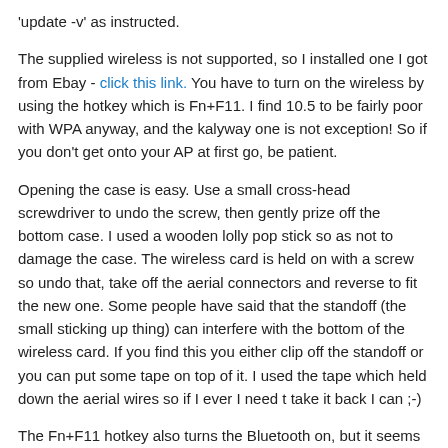'update -v' as instructed.
The supplied wireless is not supported, so I installed one I got from Ebay - click this link. You have to turn on the wireless by using the hotkey which is Fn+F11. I find 10.5 to be fairly poor with WPA anyway, and the kalyway one is not exception! So if you don't get onto your AP at first go, be patient.
Opening the case is easy. Use a small cross-head screwdriver to undo the screw, then gently prize off the bottom case. I used a wooden lolly pop stick so as not to damage the case. The wireless card is held on with a screw so undo that, take off the aerial connectors and reverse to fit the new one. Some people have said that the standoff (the small sticking up thing) can interfere with the bottom of the wireless card. If you find this you either clip off the standoff or you can put some tape on top of it. I used the tape which held down the aerial wires so if I ever I need t take it back I can ;-)
The Fn+F11 hotkey also turns the Bluetooth on, but it seems to be a toggle with the wireless ie I don't seem to be able to have both on together. If this turns out to be a problem, I can use a Belkin USB Bluetooth adapter which is natively supported.